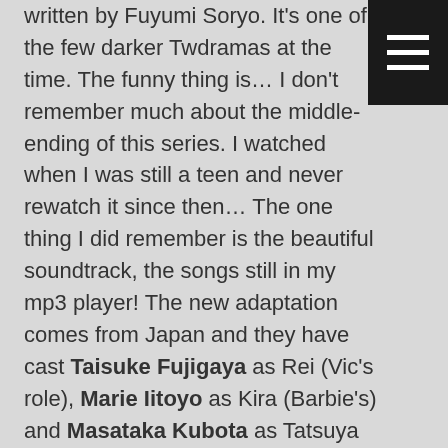written by Fuyumi Soryo. It's one of the few darker Twdramas at the time. The funny thing is… I don't remember much about the middle-ending of this series. I watched when I was still a teen and never rewatch it since then… The one thing I did remember is the beautiful soundtrack, the songs still in my mp3 player! The new adaptation comes from Japan and they have cast Taisuke Fujigaya as Rei (Vic's role), Marie Iitoyo as Kira (Barbie's) and Masataka Kubota as Tatsuya (Xiu Jie Kai's). The new drama is called Mars ~Tada, Kimi wo Aishiteru (Mars ~But, I Love You~) and premieres on January 24th.
Continue reading →
Posted in Entertainment News